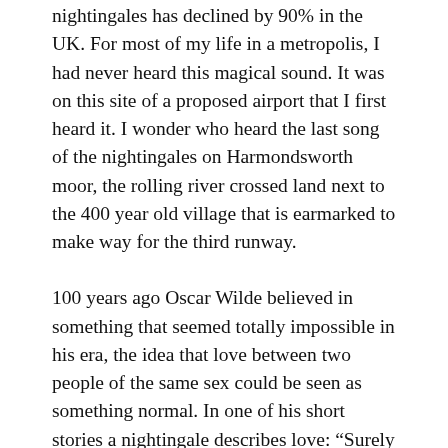nightingales has declined by 90% in the UK. For most of my life in a metropolis, I had never heard this magical sound. It was on this site of a proposed airport that I first heard it. I wonder who heard the last song of the nightingales on Harmondsworth moor, the rolling river crossed land next to the 400 year old village that is earmarked to make way for the third runway.
100 years ago Oscar Wilde believed in something that seemed totally impossible in his era, the idea that love between two people of the same sex could be seen as something normal. In one of his short stories a nightingale describes love: “Surely Love is a wonderful thing. It is more precious than emeralds, and dearer than fine opals. Pearls and pomegranates cannot buy it, nor is it set forth in the market-place. It may not be purchased of the merchants, nor can it be weighed out in the balance for gold.